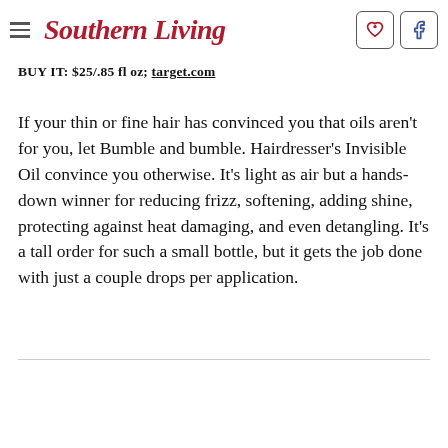Southern Living
BUY IT: $25/.85 fl oz; target.com
If your thin or fine hair has convinced you that oils aren't for you, let Bumble and bumble. Hairdresser's Invisible Oil convince you otherwise. It's light as air but a hands-down winner for reducing frizz, softening, adding shine, protecting against heat damaging, and even detangling. It's a tall order for such a small bottle, but it gets the job done with just a couple drops per application.